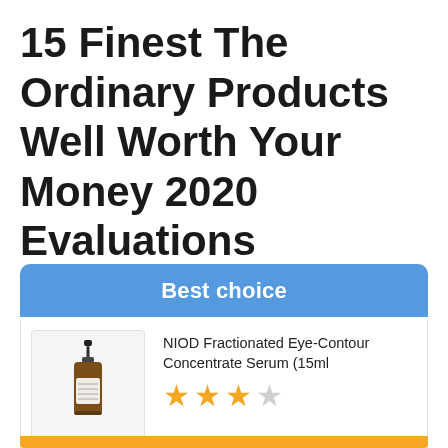15 Finest The Ordinary Products Well Worth Your Money 2020 Evaluations
Best choice
[Figure (photo): Product photo of NIOD Fractionated Eye-Contour Concentrate Serum bottle (15ml), a small dark amber dropper bottle with label]
NIOD Fractionated Eye-Contour Concentrate Serum (15ml
★★★☆ (3 out of 4 stars filled)